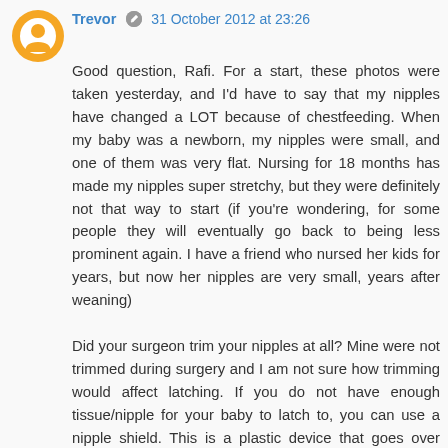[Figure (illustration): Orange circular avatar/profile icon with white person silhouette inside]
Trevor  31 October 2012 at 23:26
Good question, Rafi. For a start, these photos were taken yesterday, and I'd have to say that my nipples have changed a LOT because of chestfeeding. When my baby was a newborn, my nipples were small, and one of them was very flat. Nursing for 18 months has made my nipples super stretchy, but they were definitely not that way to start (if you're wondering, for some people they will eventually go back to being less prominent again. I have a friend who nursed her kids for years, but now her nipples are very small, years after weaning)

Did your surgeon trim your nipples at all? Mine were not trimmed during surgery and I am not sure how trimming would affect latching. If you do not have enough tissue/nipple for your baby to latch to, you can use a nipple shield. This is a plastic device that goes over your nipple. A nipple shield provides the baby with more material to put in his/her mouth, but still allows milk to come